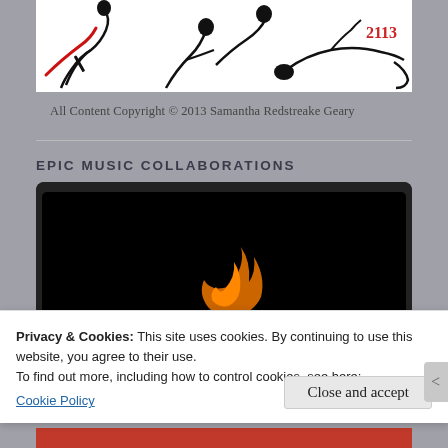[Figure (illustration): Black ink illustration of stylized figures with red streaks, with '2113' in red text, on white background. Partial view of a comic/artwork by Samantha Redstreake Geary.]
All Content Copyright © 2013 Samantha Redstreake Geary
EPIC MUSIC COLLABORATIONS
[Figure (screenshot): Video player with black background showing an orange crescent/flame shape in the center, partially visible.]
Privacy & Cookies: This site uses cookies. By continuing to use this website, you agree to their use.
To find out more, including how to control cookies, see here:
Cookie Policy
Close and accept